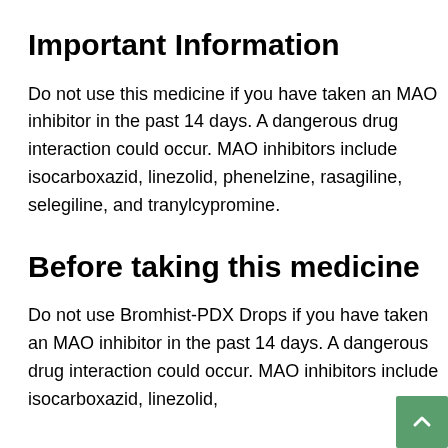Important Information
Do not use this medicine if you have taken an MAO inhibitor in the past 14 days. A dangerous drug interaction could occur. MAO inhibitors include isocarboxazid, linezolid, phenelzine, rasagiline, selegiline, and tranylcypromine.
Before taking this medicine
Do not use Bromhist-PDX Drops if you have taken an MAO inhibitor in the past 14 days. A dangerous drug interaction could occur. MAO inhibitors include isocarboxazid, linezolid,